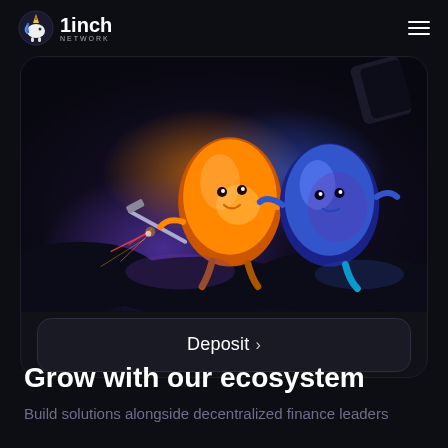[Figure (logo): 1inch Network logo — unicorn icon with red and blue accents, brand name '1inch' in bold white text, 'NETWORK' in small caps below]
[Figure (illustration): Dark background illustration featuring two colorful egg-shaped characters with arms and legs — one orange/yellow, one blue/purple — seemingly interacting with sparks/lightning effects, set against a dark moody background with purple ambient light]
Deposit >
Grow with our ecosystem
Build solutions alongside decentralized finance leaders